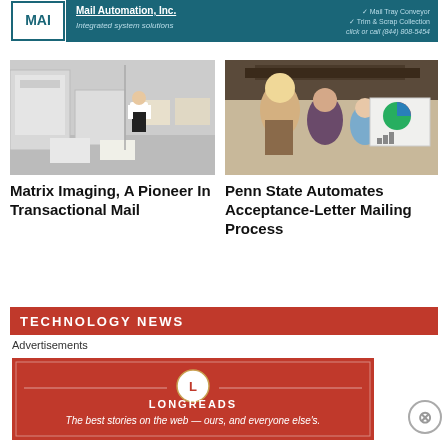[Figure (illustration): Banner advertisement for MAI (Mail Automation, Inc.) with teal/dark blue background, logo on left, company name and tagline 'Integrated system solutions', and contact info on right]
[Figure (photo): Photo of a man in white shirt standing next to large industrial printing/mailing machines in an office warehouse environment]
Matrix Imaging, A Pioneer In Transactional Mail
[Figure (photo): Photo of women in a mailing/printing facility, one holding a large printed sheet with colorful graphics]
Penn State Automates Acceptance-Letter Mailing Process
[Figure (illustration): Red banner section header reading TECHNOLOGY NEWS]
Advertisements
[Figure (illustration): Longreads advertisement: red background with logo and tagline 'The best stories on the web — ours, and everyone else's.']